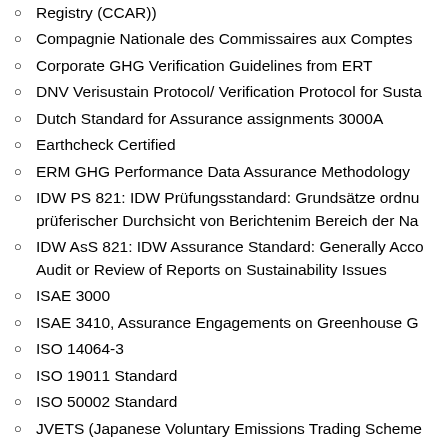Registry (CCAR))
Compagnie Nationale des Commissaires aux Comptes
Corporate GHG Verification Guidelines from ERT
DNV Verisustain Protocol/ Verification Protocol for Susta
Dutch Standard for Assurance assignments 3000A
Earthcheck Certified
ERM GHG Performance Data Assurance Methodology
IDW PS 821: IDW Prüfungsstandard: Grundsätze ordnu prüferischer Durchsicht von Berichtenim Bereich der Na
IDW AsS 821: IDW Assurance Standard: Generally Acco Audit or Review of Reports on Sustainability Issues
ISAE 3000
ISAE 3410, Assurance Engagements on Greenhouse G
ISO 14064-3
ISO 19011 Standard
ISO 50002 Standard
JVETS (Japanese Voluntary Emissions Trading Scheme
Korean GHG and Energy Target Management System
MOHURD Guidelines for Public Building Energy Audit
NMX-SAA-14064-3-IMNC: Instituto Mexicano de Norma
RevR6 Procedure for assurance of sustainability report professional body
Saitama Prefecture Target-Setting Emissions Trading P
SGS Sustainability Report Assurance
Spanish Institute of Registered Auditors (ICJCE)
SSAE 3000